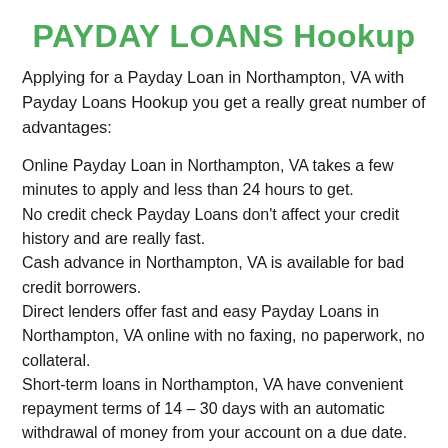PAYDAY LOANS Hookup
Applying for a Payday Loan in Northampton, VA with Payday Loans Hookup you get a really great number of advantages:
Online Payday Loan in Northampton, VA takes a few minutes to apply and less than 24 hours to get.
No credit check Payday Loans don't affect your credit history and are really fast.
Cash advance in Northampton, VA is available for bad credit borrowers.
Direct lenders offer fast and easy Payday Loans in Northampton, VA online with no faxing, no paperwork, no collateral.
Short-term loans in Northampton, VA have convenient repayment terms of 14 – 30 days with an automatic withdrawal of money from your account on a due date.